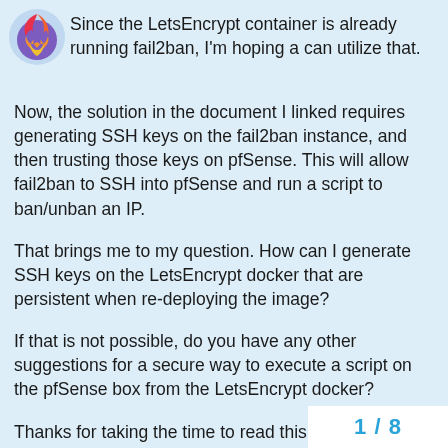[Figure (logo): Firefox-like browser logo — circular icon with pink/orange flame and purple/blue globe]
Since the LetsEncrypt container is already running fail2ban, I'm hoping a can utilize that.
Now, the solution in the document I linked requires generating SSH keys on the fail2ban instance, and then trusting those keys on pfSense. This will allow fail2ban to SSH into pfSense and run a script to ban/unban an IP.
That brings me to my question. How can I generate SSH keys on the LetsEncrypt docker that are persistent when re-deploying the image?
If that is not possible, do you have any other suggestions for a secure way to execute a script on the pfSense box from the LetsEncrypt docker?
Thanks for taking the time to read this and for any feedback you can provide!
1 / 8